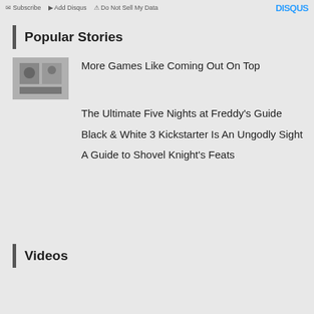Subscribe  Add Disqus  Do Not Sell My Data  DISQUS
Popular Stories
More Games Like Coming Out On Top
The Ultimate Five Nights at Freddy's Guide
Black & White 3 Kickstarter Is An Ungodly Sight
A Guide to Shovel Knight's Feats
Videos